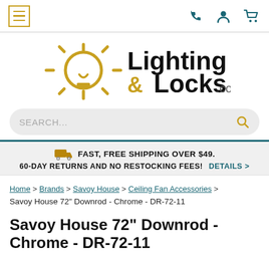Lighting & Locks .com — navigation header with menu, phone, account, cart icons
[Figure (logo): Lighting & Locks .com logo with golden sun/lightbulb icon and bold text]
SEARCH...
FAST, FREE SHIPPING OVER $49.  60-DAY RETURNS AND NO RESTOCKING FEES!  DETAILS >
Home > Brands > Savoy House > Ceiling Fan Accessories > Savoy House 72" Downrod - Chrome - DR-72-11
Savoy House 72" Downrod - Chrome - DR-72-11